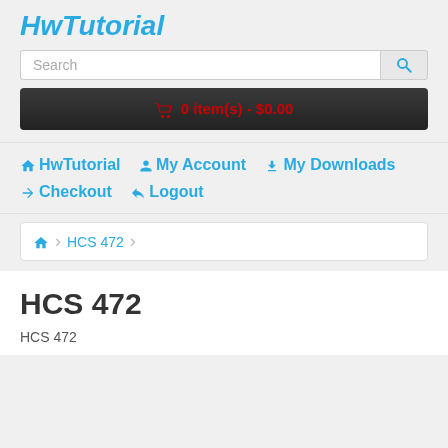HwTutorial
Search
0 item(s) - $0.00
HwTutorial  My Account  My Downloads  Checkout  Logout
HCS 472
HCS 472
HCS 472